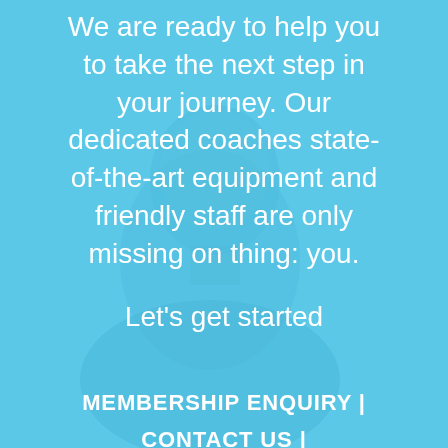[Figure (photo): Blue-tinted photo of a person (appears to be a young man) in the background, with a light blue overlay covering the entire image.]
We are ready to help you to take the next step in your journey. Our dedicated coaches state-of-the-art equipment and friendly staff are only missing on thing: you.
Let's get started
MEMBERSHIP ENQUIRY | CONTACT US | SEND FEEDBACK